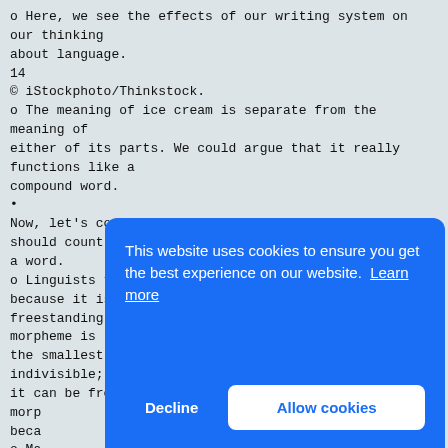o Here, we see the effects of our writing system on our thinking
about language.
14
© iStockphoto/Thinkstock.
o The meaning of ice cream is separate from the meaning of
either of its parts. We could argue that it really functions like a
compound word.
•
Now, let's consider the prefix e- and whether it should count as
a word.
o Linguists typically wouldn't call this a word because it is not
freestanding; they would call it a morpheme. A morpheme is
the smallest unit of meaning in a language. It is indivisible;
it can be freestanding or not. E- is called a bound
morp
beca
o Ma
can
retu
morp
Retu
is
foun
o A
'electronic'
[Figure (screenshot): Cookie consent banner overlay with blue background reading 'This website uses cookies to ensure you get the best experience on our website. Learn more' with Decline and Allow cookies buttons.]